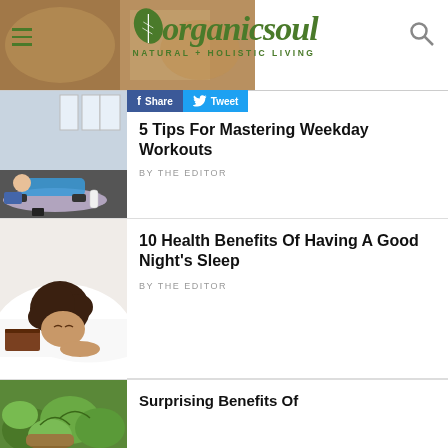organicsoul — NATURAL + HOLISTIC LIVING
[Figure (photo): Woman doing plank exercise on purple yoga mat in gym]
5 Tips For Mastering Weekday Workouts
BY THE EDITOR
[Figure (photo): Woman with curly hair sleeping peacefully on white pillow]
10 Health Benefits Of Having A Good Night's Sleep
BY THE EDITOR
[Figure (photo): Herbs and plants in small pots, green leaves]
Surprising Benefits Of